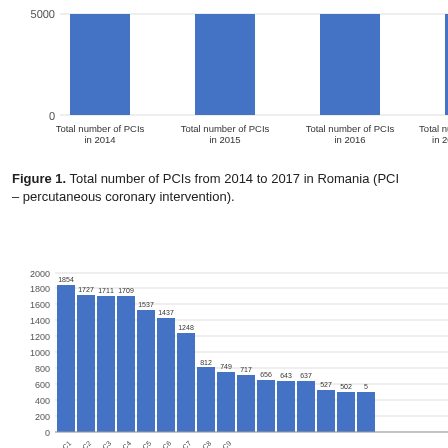[Figure (bar-chart): Total number of PCIs from 2014 to 2017 in Romania (top portion)]
Figure 1. Total number of PCIs from 2014 to 2017 in Romania (PCI – percutaneous coronary intervention).
[Figure (bar-chart): PCI counts by hospital/center (bottom portion)]